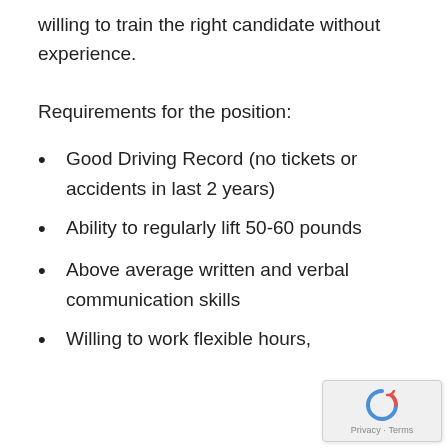willing to train the right candidate without experience.
Requirements for the position:
Good Driving Record (no tickets or accidents in last 2 years)
Ability to regularly lift 50-60 pounds
Above average written and verbal communication skills
Willing to work flexible hours,